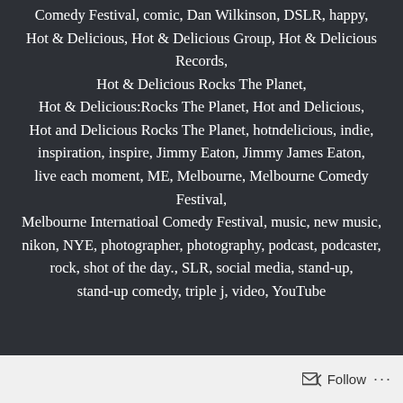Comedy Festival, comic, Dan Wilkinson, DSLR, happy, Hot & Delicious, Hot & Delicious Group, Hot & Delicious Records, Hot & Delicious Rocks The Planet, Hot & Delicious:Rocks The Planet, Hot and Delicious, Hot and Delicious Rocks The Planet, hotndelicious, indie, inspiration, inspire, Jimmy Eaton, Jimmy James Eaton, live each moment, ME, Melbourne, Melbourne Comedy Festival, Melbourne Internatioal Comedy Festival, music, new music, nikon, NYE, photographer, photography, podcast, podcaster, rock, shot of the day., SLR, social media, stand-up, stand-up comedy, triple j, video, YouTube
Follow ···